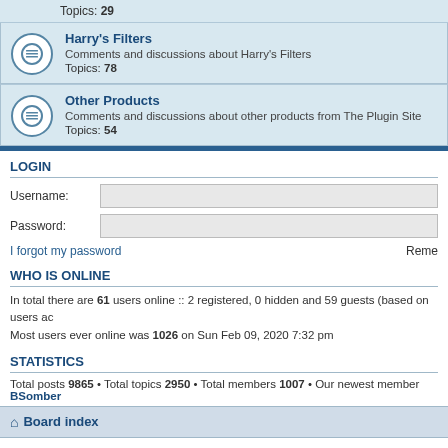Topics: 29
Harry's Filters
Comments and discussions about Harry's Filters
Topics: 78
Other Products
Comments and discussions about other products from The Plugin Site
Topics: 54
LOGIN
Username:
Password:
I forgot my password
Reme
WHO IS ONLINE
In total there are 61 users online :: 2 registered, 0 hidden and 59 guests (based on users ac
Most users ever online was 1026 on Sun Feb 09, 2020 7:32 pm
STATISTICS
Total posts 9865 • Total topics 2950 • Total members 1007 • Our newest member BSomber
Board index
Powered by phpBB® Forum Software
Privacy | Terms